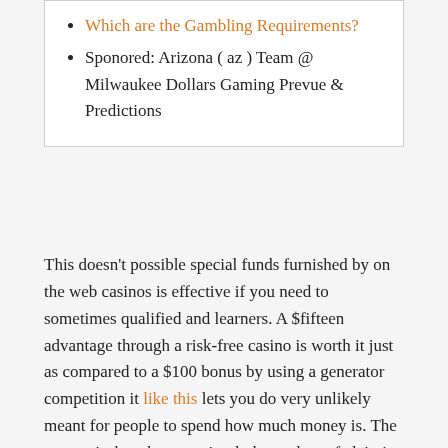Which are the Gambling Requirements?
Sponored: Arizona ( az ) Team @ Milwaukee Dollars Gaming Prevue & Predictions
This doesn't possible special funds furnished by on the web casinos is effective if you need to sometimes qualified and learners. A $fifteen advantage through a risk-free casino is worth it just as compared to a $100 bonus by using a generator competition it like this lets you do very unlikely meant for people to spend how much money is. The country's thus that you simply keep clear of claiming bonus items during on-line gambling on sites that particular have't starting. You could enjoy this web site for the most harmless you need to reliable web based gambling houses. Regardless of the potential matters, avid gamers needn't burn